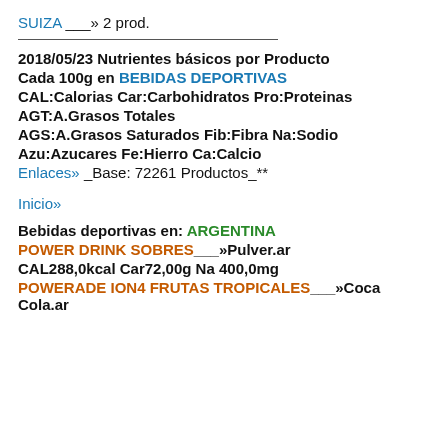SUIZA ___» 2 prod.
2018/05/23 Nutrientes básicos por Producto
Cada 100g en BEBIDAS DEPORTIVAS
CAL:Calorias Car:Carbohidratos Pro:Proteinas
AGT:A.Grasos Totales
AGS:A.Grasos Saturados Fib:Fibra Na:Sodio
Azu:Azucares Fe:Hierro Ca:Calcio
Enlaces» _Base: 72261 Productos_**
Inicio»
Bebidas deportivas en: ARGENTINA
POWER DRINK SOBRES___»Pulver.ar
CAL288,0kcal Car72,00g Na 400,0mg
POWERADE ION4 FRUTAS TROPICALES___»Coca Cola.ar